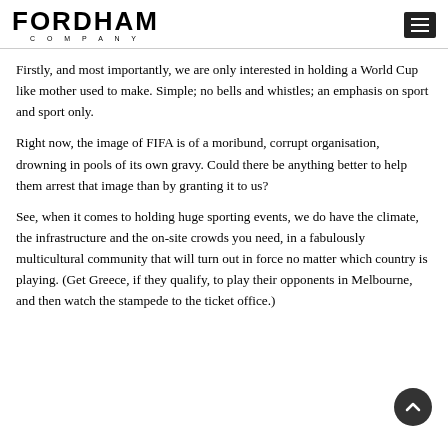FORDHAM COMPANY
Firstly, and most importantly, we are only interested in holding a World Cup like mother used to make. Simple; no bells and whistles; an emphasis on sport and sport only.
Right now, the image of FIFA is of a moribund, corrupt organisation, drowning in pools of its own gravy. Could there be anything better to help them arrest that image than by granting it to us?
See, when it comes to holding huge sporting events, we do have the climate, the infrastructure and the on-site crowds you need, in a fabulously multicultural community that will turn out in force no matter which country is playing. (Get Greece, if they qualify, to play their opponents in Melbourne, and then watch the stampede to the ticket office.)